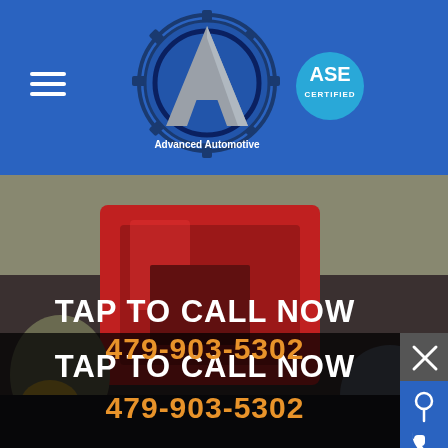Advanced Automotive — ASE Certified
[Figure (logo): Advanced Automotive logo with gear and letter A, plus ASE Certified badge]
[Figure (photo): Mechanic working in automotive shop, dark overlay, red vehicle equipment visible]
TAP TO CALL NOW
479-903-5302